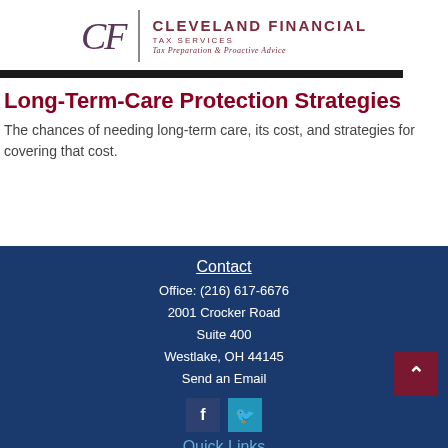[Figure (logo): Cleveland Financial Tax Services logo with stylized CF monogram and text: Tax Preparation & Proactive Advice]
Long-Term-Care Protection Strategies
The chances of needing long-term care, its cost, and strategies for covering that cost.
Contact
Office: (216) 617-6676
2001 Crocker Road
Suite 400
Westlake, OH 44145
Send an Email
Quick Links